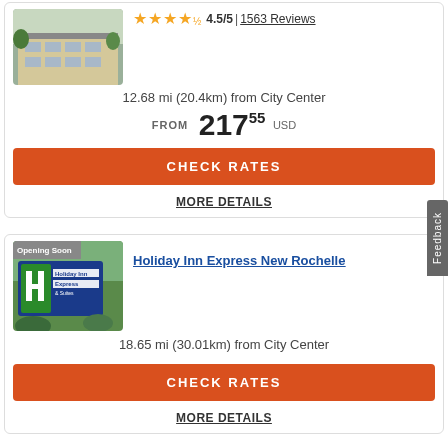[Figure (photo): Hotel building exterior photo - modern multi-story building with beige and grey facade]
4.5/5 | 1563 Reviews
12.68 mi (20.4km) from City Center
FROM 217.55 USD
CHECK RATES
MORE DETAILS
[Figure (photo): Holiday Inn Express & Suites sign photo with Opening Soon badge overlay]
Holiday Inn Express New Rochelle
18.65 mi (30.01km) from City Center
CHECK RATES
MORE DETAILS